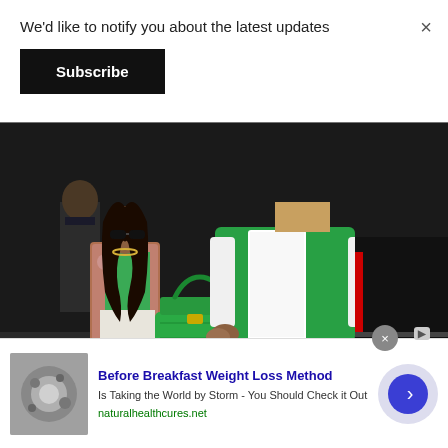We'd like to notify you about the latest updates
×
Subscribe
[Figure (photo): Two people holding hands. A woman in sunglasses wearing a green crop top, patterned jacket, white skirt, and carrying a green Birkin bag. A man wearing a green and white varsity jacket, white t-shirt, and tan pants. They are standing near a black SUV at night.]
Before Breakfast Weight Loss Method
Is Taking the World by Storm - You Should Check it Out
naturalhealthcures.net